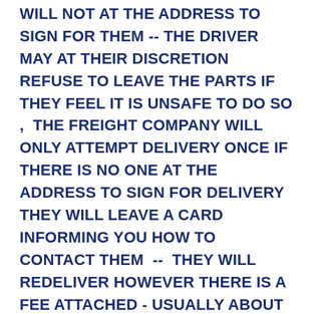WILL NOT AT THE ADDRESS TO SIGN FOR THEM -- THE DRIVER MAY AT THEIR DISCRETION REFUSE TO LEAVE THE PARTS IF THEY FEEL IT IS UNSAFE TO DO SO , THE FREIGHT COMPANY WILL ONLY ATTEMPT DELIVERY ONCE IF THERE IS NO ONE AT THE ADDRESS TO SIGN FOR DELIVERY THEY WILL LEAVE A CARD INFORMING YOU HOW TO CONTACT THEM -- THEY WILL REDELIVER HOWEVER THERE IS A FEE ATTACHED - USUALLY ABOUT $20 - IF YOUR HAPPY TO PAY THE EXTRA MONEY A REDELIVERY CAN BE ARRANGED , IF NOT YOU WILL HAVE TO ARRANGE COLLECTION FROM THE FREIGHT DEPOT

WE CAN NOT SEND TO A P.O.BOX -- WE CAN SEND C/-